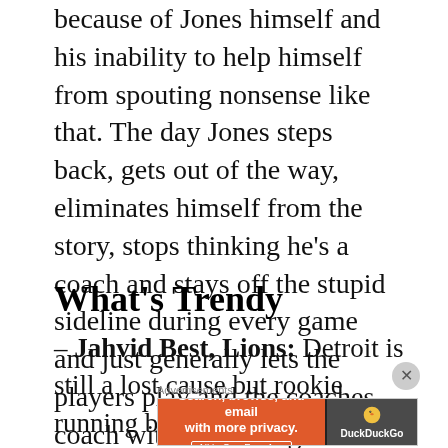because of Jones himself and his inability to help himself from spouting nonsense like that. The day Jones steps back, gets out of the way, eliminates himself from the story, stops thinking he's a coach and stays off the stupid sideline during every game and just generally lets the players play and the coaches coach without his larger than life specter looming over everything, the Cowboys may have a chance.
What's Trendy
– Jahvid Best, Lions: Detroit is still a lost cause but rookie running back Best went absolutely off in a 35-32
[Figure (other): DuckDuckGo advertisement banner: orange left panel with text 'Search, browse, and email with more privacy. All in One Free App' and dark right panel with DuckDuckGo duck logo and brand name.]